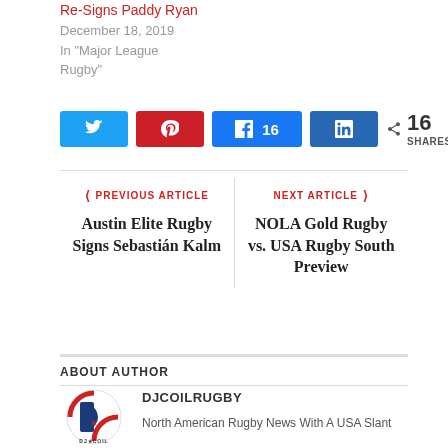Re-Signs Paddy Ryan
December 18, 2019
In "Major League Rugby"
[Figure (infographic): Social share buttons: Twitter (blue), Pinterest (red), Facebook with 16 count (blue), LinkedIn (dark blue), and share count showing 16 SHARES]
PREVIOUS ARTICLE
Austin Elite Rugby Signs Sebastián Kalm
NEXT ARTICLE
NOLA Gold Rugby vs. USA Rugby South Preview
ABOUT AUTHOR
[Figure (logo): DJCoilRugby circular logo with blue and red design]
DJCOILRUGBY
North American Rugby News With A USA Slant